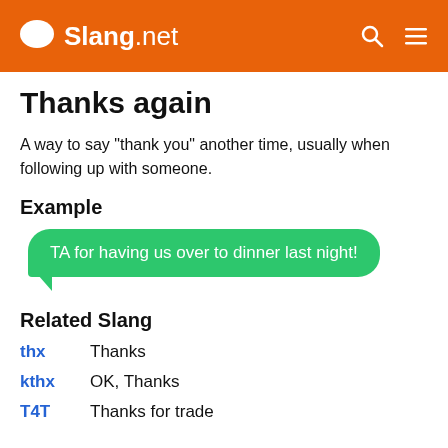Slang.net
Thanks again
A way to say "thank you" another time, usually when following up with someone.
Example
TA for having us over to dinner last night!
Related Slang
thx — Thanks
kthx — OK, Thanks
T4T — Thanks for trade